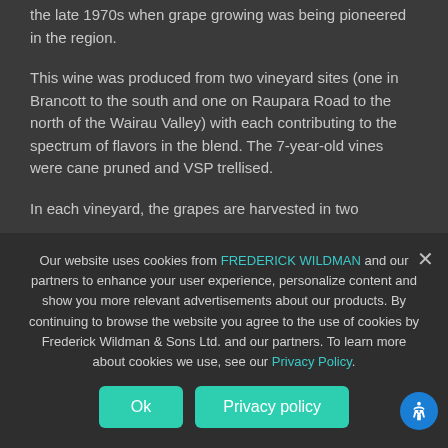the late 1970s when grape growing was being pioneered in the region.
This wine was produced from two vineyard sites (one in Brancott to the south and one on Raupara Road to the north of the Wairau Valley) with each contributing to the spectrum of flavors in the blend. The 7-year-old vines were cane pruned and VSP trellised.
In each vineyard, the grapes are harvested in two
Our website uses cookies from FREDERICK WILDMAN and our partners to enhance your user experience, personalize content and show you more relevant advertisements about our products. By continuing to browse the website you agree to the use of cookies by Frederick Wildman & Sons Ltd. and our partners. To learn more about cookies we use, see our Privacy Policy.